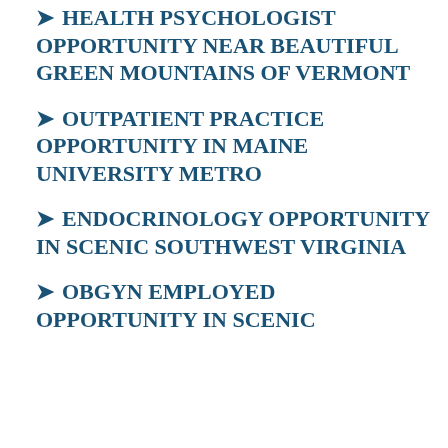HEALTH PSYCHOLOGIST OPPORTUNITY NEAR BEAUTIFUL GREEN MOUNTAINS OF VERMONT
OUTPATIENT PRACTICE OPPORTUNITY IN MAINE UNIVERSITY METRO
ENDOCRINOLOGY OPPORTUNITY IN SCENIC SOUTHWEST VIRGINIA
OBGYN EMPLOYED OPPORTUNITY IN SCENIC